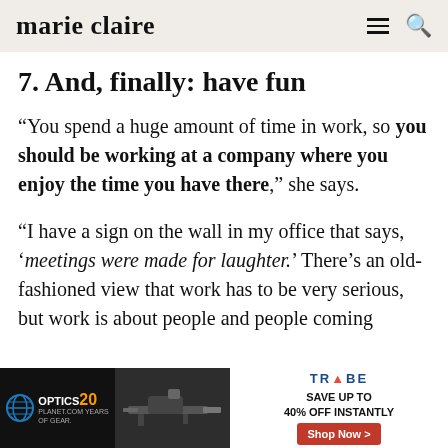marie claire
7. And, finally: have fun
“You spend a huge amount of time in work, so you should be working at a company where you enjoy the time you have there,” she says.
“I have a sign on the wall in my office that says, ‘meetings were made for laughter.’ There’s an old-fashioned view that work has to be very serious, but work is about people and people coming
[Figure (screenshot): Advertisement banner for Optics Planet (20 years) and Trybe with 'SAVE UP TO 40% OFF INSTANTLY' and a 'Shop Now >' button]